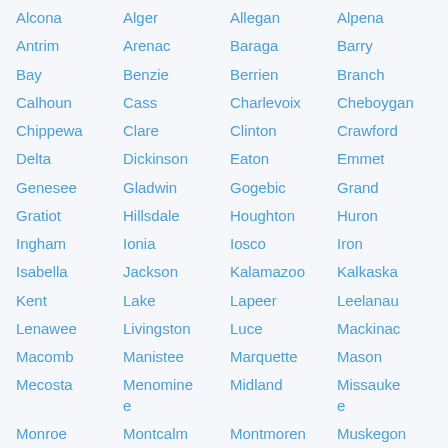| Alcona | Alger | Allegan | Alpena |
| Antrim | Arenac | Baraga | Barry |
| Bay | Benzie | Berrien | Branch |
| Calhoun | Cass | Charlevoix | Cheboygan |
| Chippewa | Clare | Clinton | Crawford |
| Delta | Dickinson | Eaton | Emmet |
| Genesee | Gladwin | Gogebic | Grand |
| Gratiot | Hillsdale | Houghton | Huron |
| Ingham | Ionia | Iosco | Iron |
| Isabella | Jackson | Kalamazoo | Kalkaska |
| Kent | Lake | Lapeer | Leelanau |
| Lenawee | Livingston | Luce | Mackinac |
| Macomb | Manistee | Marquette | Mason |
| Mecosta | Menominee | Midland | Missaukee |
| Monroe | Montcalm | Montmorency | Muskegon |
| Newaygo | Oakland | Oceana | Ogemaw |
| Ontonagon |  |  |  |